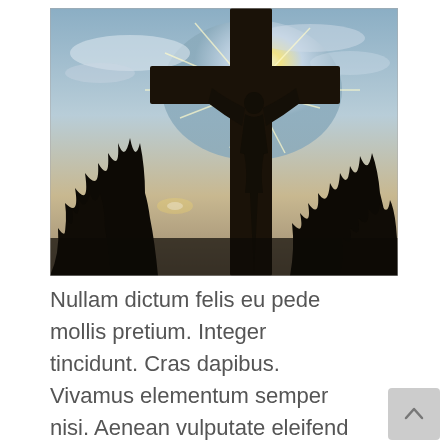[Figure (photo): Silhouette of a crucifix cross against a bright sun with lens flare, sky with clouds, and dark tree silhouettes in the background]
Nullam dictum felis eu pede mollis pretium. Integer tincidunt. Cras dapibus. Vivamus elementum semper nisi. Aenean vulputate eleifend tellus. Aenean leo ligula, porttitor eu, consequat vitae, eleifend ac, enim.